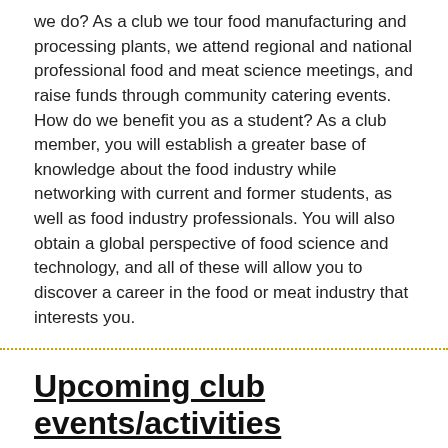we do? As a club we tour food manufacturing and processing plants, we attend regional and national professional food and meat science meetings, and raise funds through community catering events. How do we benefit you as a student? As a club member, you will establish a greater base of knowledge about the food industry while networking with current and former students, as well as food industry professionals. You will also obtain a global perspective of food science and technology, and all of these will allow you to discover a career in the food or meat industry that interests you.
Upcoming club events/activities
The Food Science club meets every other Tuesday in the evenings at 6:00 in the Animal Science lobby.
The University of Wyoming Food Science Club plans to host multiple Takeout Nights throughout the spring semesters. To learn more about the club's Takeout Night, click here.